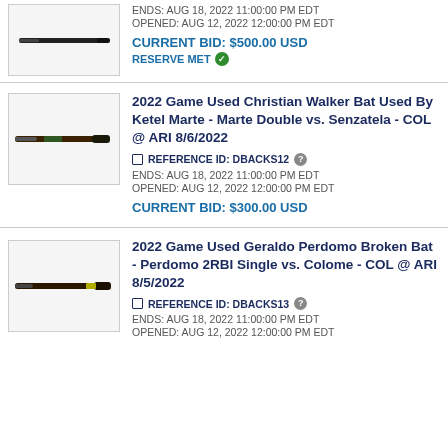[Figure (photo): Baseball bat photo on light background, dark bat]
ENDS: AUG 18, 2022 11:00:00 PM EDT
OPENED: AUG 12, 2022 12:00:00 PM EDT
CURRENT BID: $500.00 USD
RESERVE MET
2022 Game Used Christian Walker Bat Used By Ketel Marte - Marte Double vs. Senzatela - COL @ ARI 8/6/2022
[Figure (photo): Baseball bat photo, dark handle with green markings]
REFERENCE ID: DBACKS12
ENDS: AUG 18, 2022 11:00:00 PM EDT
OPENED: AUG 12, 2022 12:00:00 PM EDT
CURRENT BID: $300.00 USD
2022 Game Used Geraldo Perdomo Broken Bat - Perdomo 2RBI Single vs. Colome - COL @ ARI 8/5/2022
[Figure (photo): Baseball bat photo, dark bat with yellow/green end]
REFERENCE ID: DBACKS13
ENDS: AUG 18, 2022 11:00:00 PM EDT
OPENED: AUG 12, 2022 12:00:00 PM EDT